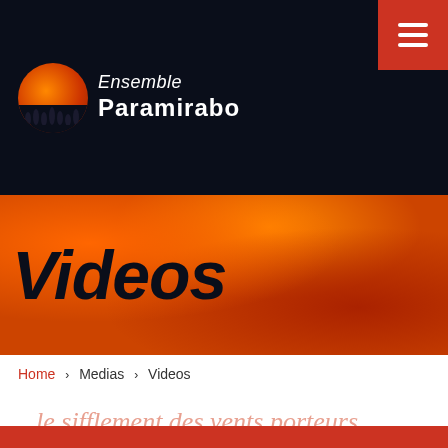[Figure (logo): Ensemble Paramirabo logo with orange circle containing silhouettes of people, white text on dark navy background]
Videos
Home › Medias › Videos
... le sifflement des vents porteurs de l'amour